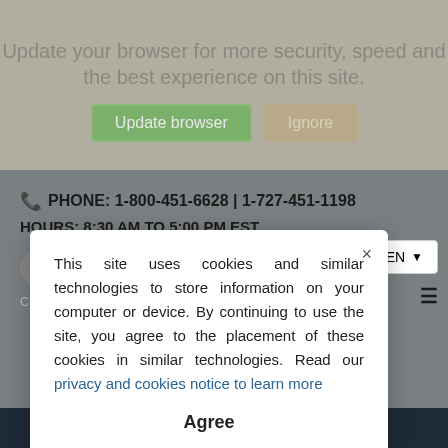Update your browser for more security, speed and the best experience on this site.
Update browser   Ignore
PHONE: 1-800-451-6628 | 1-727-451-1198
HOURS: 8:30 AM TO 5:00 PM EST
CONNECT   CHAT NOW   BLOG   E-NEWS SIGNUP
EN
This site uses cookies and similar technologies to store information on your computer or device. By continuing to use the site, you agree to the placement of these cookies in similar technologies. Read our privacy and cookies notice to learn more
Agree